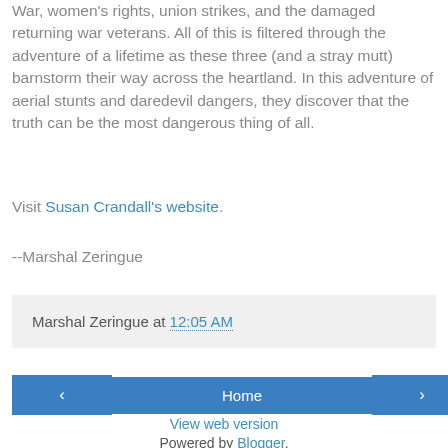War, women's rights, union strikes, and the damaged returning war veterans. All of this is filtered through the adventure of a lifetime as these three (and a stray mutt) barnstorm their way across the heartland. In this adventure of aerial stunts and daredevil dangers, they discover that the truth can be the most dangerous thing of all.
Visit Susan Crandall's website.
--Marshal Zeringue
Marshal Zeringue at 12:05 AM
Home | View web version | Powered by Blogger.